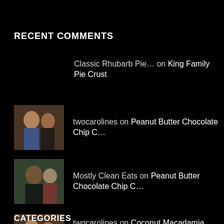RECENT COMMENTS
Classic Rhubarb Pie… on King Family Pie Crust
twocarolines on Peanut Butter Chocolate Chip C…
Mostly Clean Eats on Peanut Butter Chocolate Chip C…
twocarolines on Coconut Macadamia Chocolate Ch…
caroll on Coconut Macadamia Chocolate Ch…
CATEGORIES